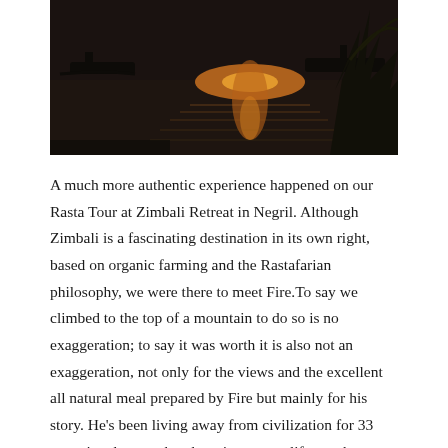[Figure (photo): Sunset over water with a boat silhouette and tropical plants in the foreground, reflected sunlight on the sea.]
A much more authentic experience happened on our Rasta Tour at Zimbali Retreat in Negril. Although Zimbali is a fascinating destination in its own right, based on organic farming and the Rastafarian philosophy, we were there to meet Fire.To say we climbed to the top of a mountain to do so is no exaggeration; to say it was worth it is also not an exaggeration, not only for the views and the excellent all natural meal prepared by Fire but mainly for his story. He's been living away from civilization for 33 years in a lean-to that doesn't even qualify as a hut. Long ago, he felt a need to get away from his mainstream life and